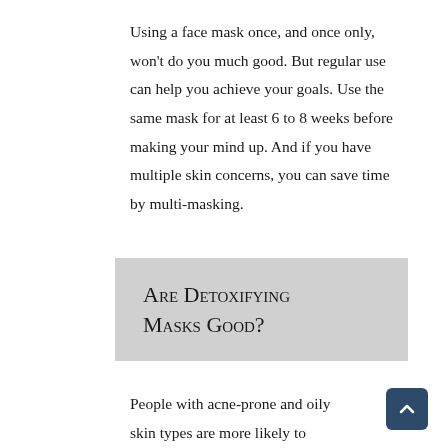Using a face mask once, and once only, won't do you much good. But regular use can help you achieve your goals. Use the same mask for at least 6 to 8 weeks before making your mind up. And if you have multiple skin concerns, you can save time by multi-masking.
Are Detoxifying Masks Good?
People with acne-prone and oily skin types are more likely to have clogged pores than